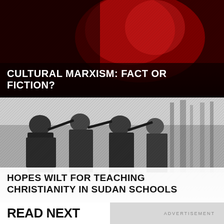[Figure (photo): Dark red-toned photo of a person's face, partially obscured, with diagonal texture overlay]
CULTURAL MARXISM: FACT OR FICTION?
[Figure (photo): Black and white photo of armed soldiers or militia in an outdoor setting with trees]
HOPES WILT FOR TEACHING CHRISTIANITY IN SUDAN SCHOOLS
ADVERTISEMENT
READ NEXT